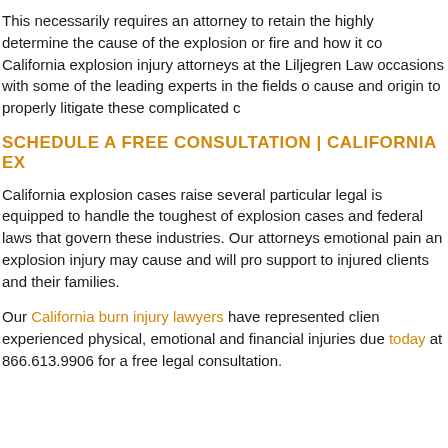This necessarily requires an attorney to retain the highly determine the cause of the explosion or fire and how it co California explosion injury attorneys at the Liljegren Law occasions with some of the leading experts in the fields o cause and origin to properly litigate these complicated c
SCHEDULE A FREE CONSULTATION | CALIFORNIA EX
California explosion cases raise several particular legal is equipped to handle the toughest of explosion cases and federal laws that govern these industries. Our attorneys emotional pain an explosion injury may cause and will pro support to injured clients and their families.
Our California burn injury lawyers have represented clien experienced physical, emotional and financial injuries due today at 866.613.9906 for a free legal consultation.